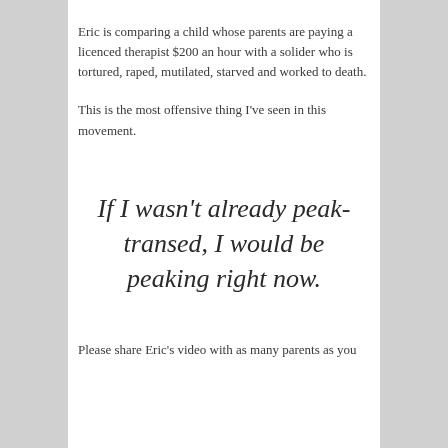Eric is comparing a child whose parents are paying a licenced therapist $200 an hour with a solider who is tortured, raped, mutilated, starved and worked to death.
This is the most offensive thing I've seen in this movement.
If I wasn't already peak-transed, I would be peaking right now.
Please share Eric's video with as many parents as you